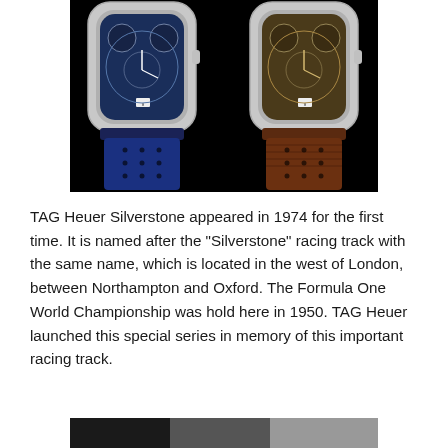[Figure (photo): Two TAG Heuer Silverstone chronograph watches side by side on a black background. The left watch has a blue dial with a blue perforated leather strap. The right watch has a brown/olive dial with a brown perforated leather strap. Both have square cushion cases with sub-dials.]
TAG Heuer Silverstone appeared in 1974 for the first time. It is named after the "Silverstone" racing track with the same name, which is located in the west of London, between Northampton and Oxford. The Formula One World Championship was hold here in 1950. TAG Heuer launched this special series in memory of this important racing track.
[Figure (photo): Bottom portion of another watch photo, partially visible at the bottom of the page.]